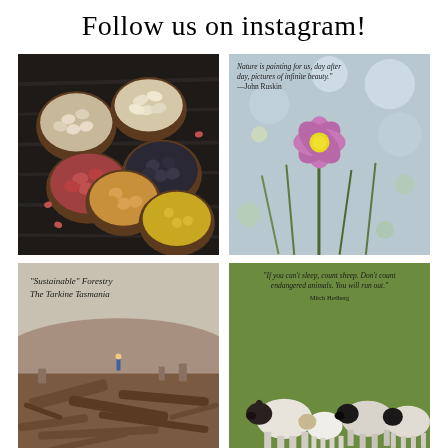Follow us on instagram!
[Figure (photo): Bowls of various legumes and seeds (beans, lentils, chickpeas, pumpkin seeds) arranged on a dark wooden surface]
[Figure (photo): Close-up of a purple/pink cosmos flower with bokeh background, overlaid with quote: 'Nature is painting for us, day after day, pictures of infinite beauty.' —John Ruskin]
[Figure (photo): Deforested hillside landscape labeled 'Sustainable' Forestry The Tarkine Tasmania, with a small figure standing in the debris]
[Figure (photo): Green background with sheep standing, overlaid with quote: 'If you can't sleep, count sheep. Don't count endangered animals. You will run out.' — Mitch Hedberg]
[Figure (photo): Partial bottom-left image, warm golden/orange tones]
[Figure (photo): Partial bottom-right image, green/olive tones]